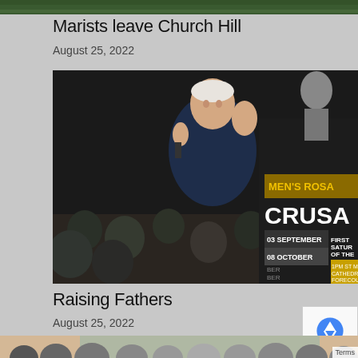[Figure (photo): Partial green image strip at the top of the page]
Marists leave Church Hill
August 25, 2022
[Figure (photo): A man in a dark suit holding a microphone and raising his hand, speaking to a seated audience. On the right side is a Men's Rosary Crusade poster showing dates 03 September, 08 October, and event details.]
Raising Fathers
August 25, 2022
[Figure (photo): Partial image of a crowd of people at the bottom of the page]